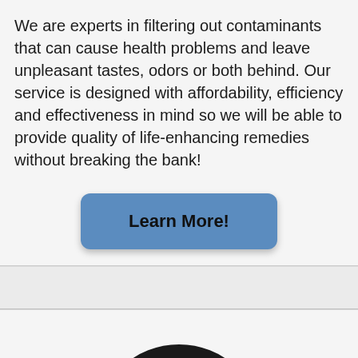We are experts in filtering out contaminants that can cause health problems and leave unpleasant tastes, odors or both behind. Our service is designed with affordability, efficiency and effectiveness in mind so we will be able to provide quality of life-enhancing remedies without breaking the bank!
[Figure (other): A blue rounded rectangle button with bold text 'Learn More!']
[Figure (logo): A circular logo/icon in black and white, partially visible at the bottom of the page, appearing to be a semi-circular concentric arc design]